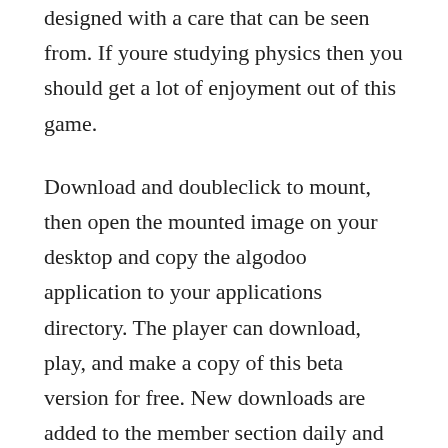designed with a care that can be seen from. If youre studying physics then you should get a lot of enjoyment out of this game.
Download and doubleclick to mount, then open the mounted image on your desktop and copy the algodoo application to your applications directory. The player can download, play, and make a copy of this beta version for free. New downloads are added to the member section daily and we now have 358,106 downloads for our members, including. The program operated under the essential premise that people crafted their own